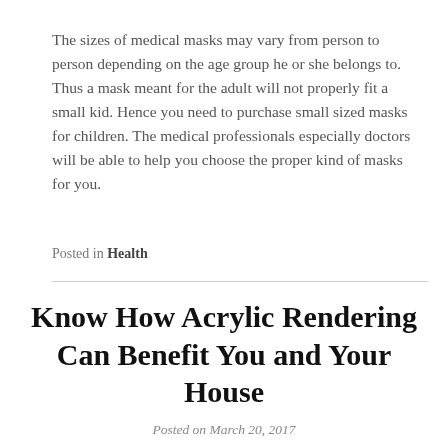The sizes of medical masks may vary from person to person depending on the age group he or she belongs to. Thus a mask meant for the adult will not properly fit a small kid. Hence you need to purchase small sized masks for children. The medical professionals especially doctors will be able to help you choose the proper kind of masks for you.
Posted in Health
Know How Acrylic Rendering Can Benefit You and Your House
Posted on March 20, 2017